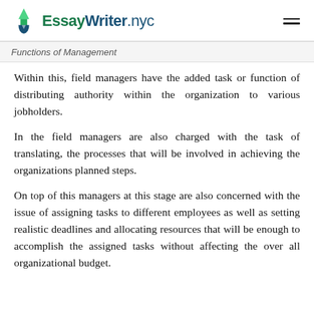EssayWriter.nyc
Functions of Management
Within this, field managers have the added task or function of distributing authority within the organization to various jobholders.
In the field managers are also charged with the task of translating, the processes that will be involved in achieving the organizations planned steps.
On top of this managers at this stage are also concerned with the issue of assigning tasks to different employees as well as setting realistic deadlines and allocating resources that will be enough to accomplish the assigned tasks without affecting the over all organizational budget.